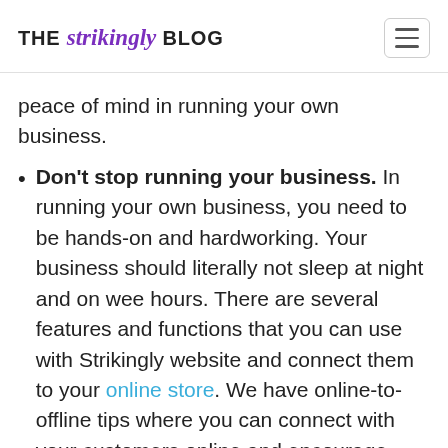THE strikingly BLOG
peace of mind in running your own business.
Don't stop running your business. In running your own business, you need to be hands-on and hardworking. Your business should literally not sleep at night and on wee hours. There are several features and functions that you can use with Strikingly website and connect them to your online store. We have online-to-offline tips where you can connect with your customers online and encourage them to visit your physical store. When we say that you don't stop running your business, we mean 24/7 business hours online. Yes, you can do it!